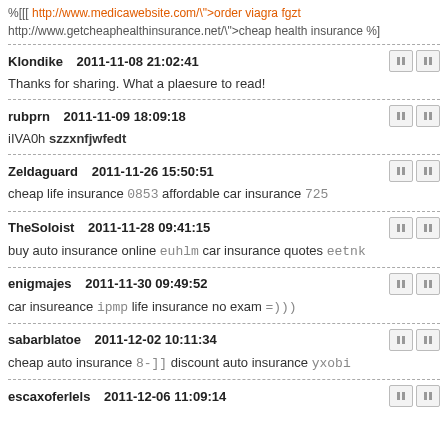%[[[ http://www.medicawebsite.com/">order viagra fgzt http://www.getcheaphealthinsurance.net/">cheap health insurance %]
Klondike    2011-11-08 21:02:41
Thanks for sharing. What a plaesure to read!
rubprn    2011-11-09 18:09:18
iIVA0h szzxnfjwfedt
Zeldaguard    2011-11-26 15:50:51
cheap life insurance 0853 affordable car insurance 725
TheSoloist    2011-11-28 09:41:15
buy auto insurance online euhlm car insurance quotes eetnk
enigmajes    2011-11-30 09:49:52
car insureance ipmp life insurance no exam =)))
sabarblatoe    2011-12-02 10:11:34
cheap auto insurance 8-]] discount auto insurance yxobi
escaxoferlels    2011-12-06 11:09:14